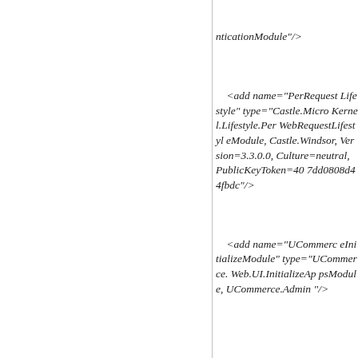nticationModule"/>

    <add name="PerRequestLifestyle" type="Castle.MicroKernel.Lifestyle.PerWebRequestLifestyleModule, Castle.Windsor, Version=3.3.0.0, Culture=neutral, PublicKeyToken=407dd0808d44fbdc"/>

    <add name="UCommerceInitializeModule" type="UCommerce.Web.UI.InitializeAppsModule, UCommerce.Admin"/>